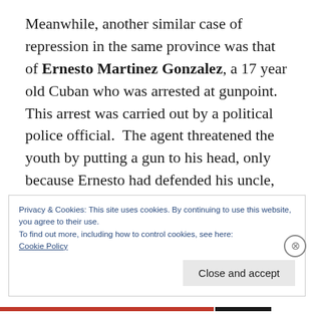Meanwhile, another similar case of repression in the same province was that of Ernesto Martinez Gonzalez, a 17 year old Cuban who was arrested at gunpoint. This arrest was carried out by a political police official. The agent threatened the youth by putting a gun to his head, only because Ernesto had defended his uncle, the dissident Carlos Olivera who is also an activist from the Pedro Luis Boitel Democracy Party and who was being violently
Privacy & Cookies: This site uses cookies. By continuing to use this website, you agree to their use.
To find out more, including how to control cookies, see here:
Cookie Policy